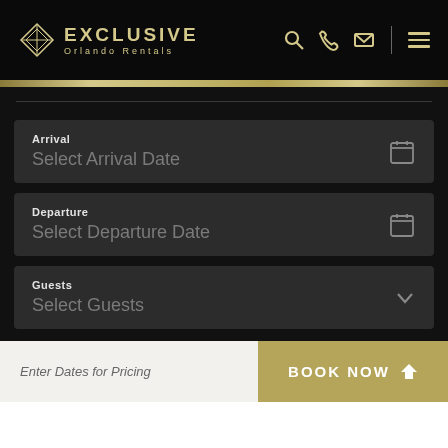[Figure (logo): Exclusive Orlando Rentals logo with diamond icon and text]
[Figure (screenshot): Navigation icons: search, phone, email, menu hamburger]
[Figure (screenshot): Arrival date selector field with calendar icon showing 'Select Arrival Date']
[Figure (screenshot): Departure date selector field with calendar icon showing 'Select Departure Date']
[Figure (screenshot): Guests selector field with dropdown chevron showing 'Select Guests']
Enter Dates for Pricing
BOOK NOW